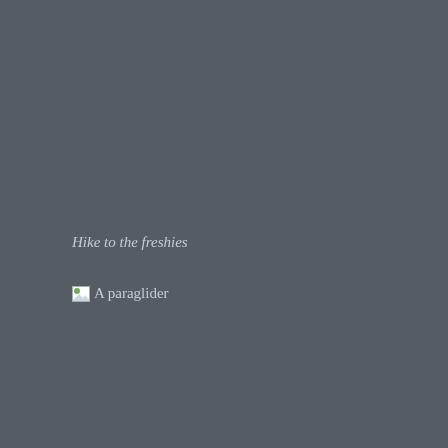Hike to the freshies
[Figure (photo): A broken image placeholder showing a small icon with the alt text 'A paraglider']